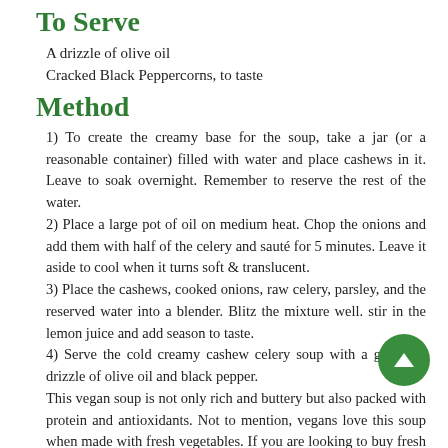To Serve
A drizzle of olive oil
Cracked Black Peppercorns, to taste
Method
1) To create the creamy base for the soup, take a jar (or a reasonable container) filled with water and place cashews in it. Leave to soak overnight. Remember to reserve the rest of the water.
2) Place a large pot of oil on medium heat. Chop the onions and add them with half of the celery and sauté for 5 minutes. Leave it aside to cool when it turns soft & translucent.
3) Place the cashews, cooked onions, raw celery, parsley, and the reserved water into a blender. Blitz the mixture well. stir in the lemon juice and add season to taste.
4) Serve the cold creamy cashew celery soup with a generous drizzle of olive oil and black pepper.
This vegan soup is not only rich and buttery but also packed with protein and antioxidants. Not to mention, vegans love this soup when made with fresh vegetables. If you are looking to buy fresh vegetables & other precut items, fret not, you can rely on NRTC fresh – the leading vegetables & fresh fruits